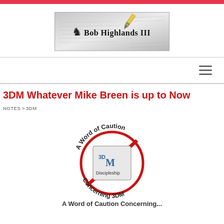[Figure (logo): Bob Highlands III blog logo with pen image and chess knight icon]
3DM Whatever Mike Breen is up to Now
NOTES > 3DM
[Figure (illustration): A Word of Caution Concerning 3DM - circular warning sign with 3DM logo crossed out in red]
A Word of Caution Concerning...